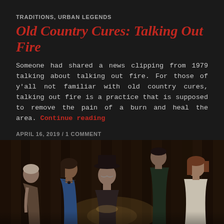TRADITIONS, URBAN LEGENDS
Old Country Cures: Talking Out Fire
Someone had shared a news clipping from 1979 talking about talking out fire. For those of y'all not familiar with old country cures, talking out fire is a practice that is supposed to remove the pain of a burn and heal the area. Continue reading
APRIL 16, 2019 / 1 COMMENT
[Figure (photo): A group of five people gathered around an older man wearing a hat, all looking downward as if reading or praying together. The setting appears to be a dark wood-paneled room with a light source illuminating from below. The group includes two women on the left, the older man in the center, a man in what appears to be military dress behind, and a woman in white on the far right.]